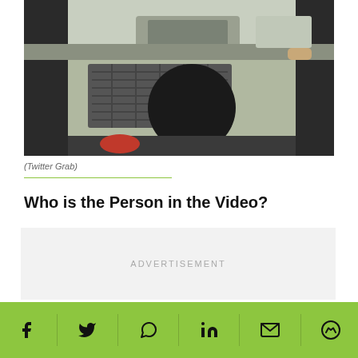[Figure (photo): Video screenshot from inside a vehicle showing a dark silhouette of a person's head, with another vehicle visible through the windshield. Scene appears to be on a road.]
(Twitter Grab)
Who is the Person in the Video?
ADVERTISEMENT
[Figure (other): Social media share bar with Facebook, Twitter, WhatsApp, LinkedIn, Email, and Messenger icons on a green background.]